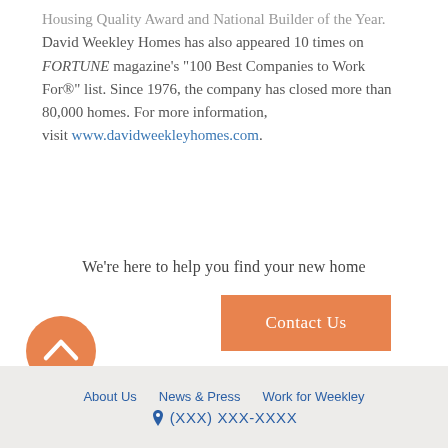Housing Quality Award and National Builder of the Year. David Weekley Homes has also appeared 10 times on FORTUNE magazine's "100 Best Companies to Work For®" list. Since 1976, the company has closed more than 80,000 homes. For more information, visit www.davidweekleyhomes.com.
We're here to help you find your new home
Contact Us
[Figure (illustration): Orange circular button with upward-pointing chevron arrow for scrolling to top of page]
About Us   News & Press   Work for Weekley